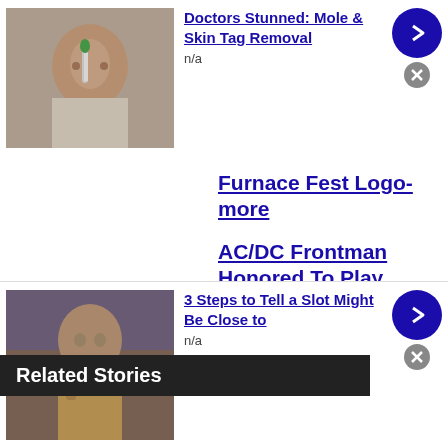[Figure (photo): Ad thumbnail: person's face with toothbrush near nose/mouth]
Doctors Stunned: Mole & Skin Tag Removal
n/a
Furnace Fest Logo-more
AC/DC Frontman Honored To Play Taylor Hawkins Tribute Concert- Anthrax Cancel 40th
Related Stories
[Figure (photo): Ad thumbnail: person in tan/brown jacket at casino]
3 Steps to Tell a Slot Might Be Close to
n/a